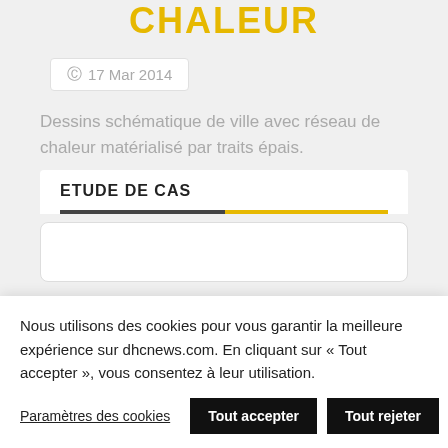CHALEUR
17 Mar 2014
Dessins schématique de ville avec réseau de chaleur matérialisé par traits épais.
ETUDE DE CAS
Nous utilisons des cookies pour vous garantir la meilleure expérience sur dhcnews.com. En cliquant sur « Tout accepter », vous consentez à leur utilisation.
Paramètres des cookies
Tout accepter
Tout rejeter